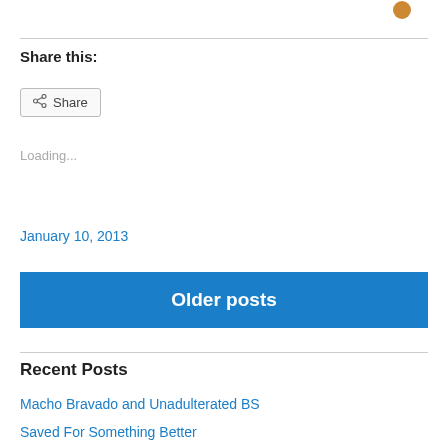Share this:
Share
Loading...
January 10, 2013
Older posts
Recent Posts
Macho Bravado and Unadulterated BS
Saved For Something Better